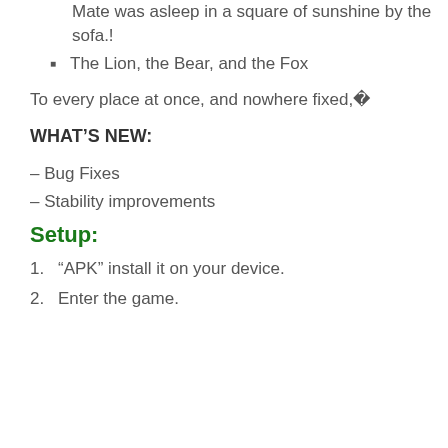Mate was asleep in a square of sunshine by the sofa.!
The Lion, the Bear, and the Fox
To every place at once, and nowhere fixed,�
WHAT’S NEW:
– Bug Fixes
– Stability improvements
Setup:
“APK” install it on your device.
Enter the game.